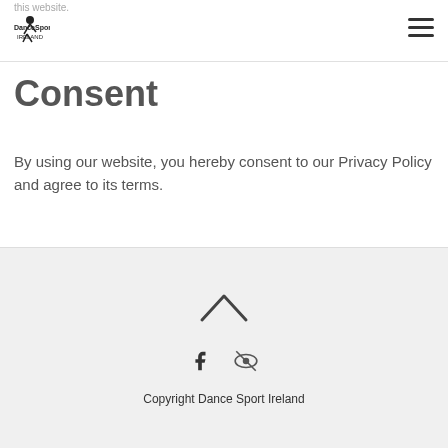this website.
Consent
By using our website, you hereby consent to our Privacy Policy and agree to its terms.
[Figure (other): Social share buttons: Facebook, Twitter, Email, More]
Copyright Dance Sport Ireland